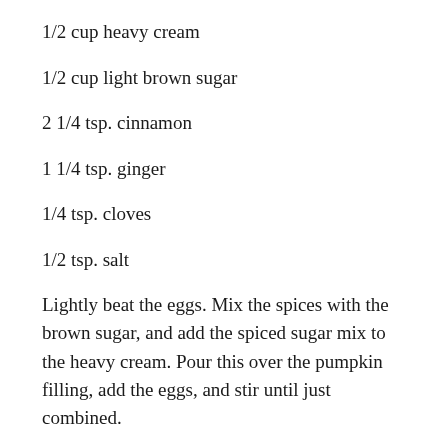1/2 cup heavy cream
1/2 cup light brown sugar
2 1/4 tsp. cinnamon
1 1/4 tsp. ginger
1/4 tsp. cloves
1/2 tsp. salt
Lightly beat the eggs. Mix the spices with the brown sugar, and add the spiced sugar mix to the heavy cream. Pour this over the pumpkin filling, add the eggs, and stir until just combined.
When ready to make pie, turn the oven on to 375 degrees, and when the oven is ready, pull your